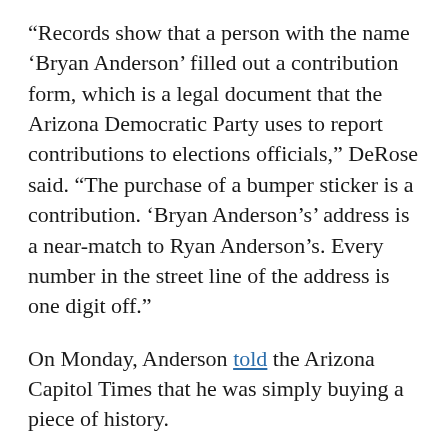“Records show that a person with the name ‘Bryan Anderson’ filled out a contribution form, which is a legal document that the Arizona Democratic Party uses to report contributions to elections officials,” DeRose said. “The purchase of a bumper sticker is a contribution. ‘Bryan Anderson’s’ address is a near-match to Ryan Anderson’s. Every number in the street line of the address is one digit off.”
On Monday, Anderson told the Arizona Capitol Times that he was simply buying a piece of history.
Democrats, though, aren’t convinced. Instead, they’ve asked Shadegg to fire him.
“Why would Anderson need to lie if he was just there to buy a bumper sticker?” DeRose asked. “Why would